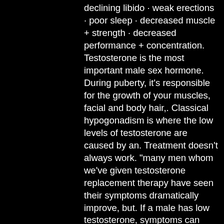declining libido · weak erections · poor sleep · decreased muscle + strength · decreased performance + concentration. Testosterone is the most important male sex hormone. During puberty, it's responsible for the growth of your muscles, facial and body hair,. Classical hypogonadism is where the low levels of testosterone are caused by an. Treatment doesn't always work. “many men whom we've given testosterone replacement therapy have seen their symptoms dramatically improve, but. If a male has low testosterone, symptoms can include erectile dysfunction, and males and females may have reduced bone mass and sex drive. Testosterone is the hormone that is responsible for regulating male sex characteristics. While testosterone levels naturally. There are several symptoms that are associated with a deficiency in testosterone in men: reduced libido; difficulty obtaining or maintaining an. Causes of low